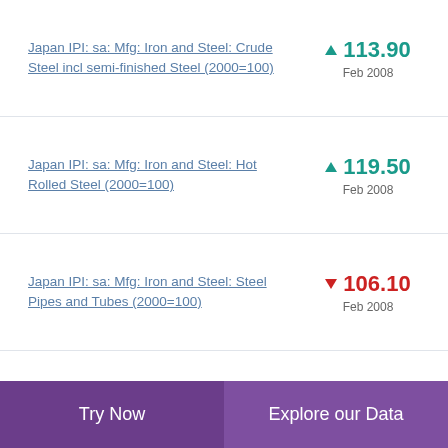Japan IPI: sa: Mfg: Iron and Steel: Crude Steel incl semi-finished Steel (2000=100)
Japan IPI: sa: Mfg: Iron and Steel: Hot Rolled Steel (2000=100)
Japan IPI: sa: Mfg: Iron and Steel: Steel Pipes and Tubes (2000=100)
Japan IPI: sa: Mfg: Iron and Steel: Cold Finished Steel (2000=100)
Try Now | Explore our Data